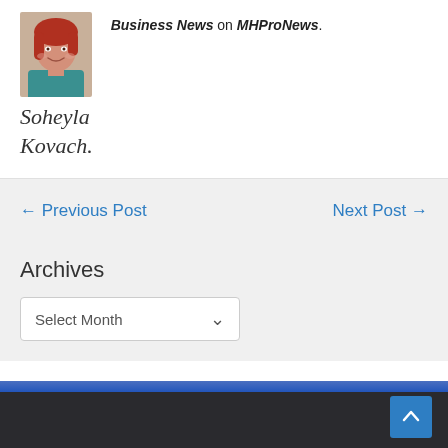[Figure (photo): Portrait photo of a woman with red hair, smiling, wearing a teal top]
Business News on MHProNews.
Soheyla Kovach.
← Previous Post
Next Post →
Archives
Select Month